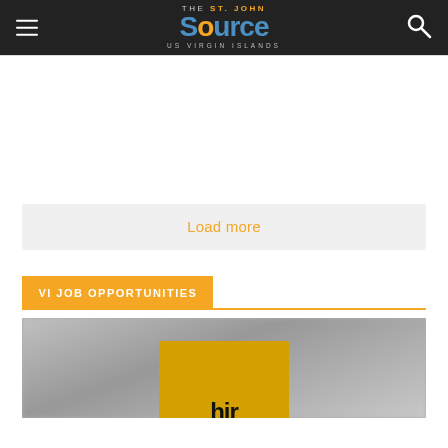The St. John Source – US Virgin Islands
[Figure (screenshot): White empty content area with a light gray horizontal divider at the top]
Load more
VI JOB OPPORTUNITIES
[Figure (photo): Blurry background with a yellow/gold sign held up, partial dark text visible on the sign, cropped at bottom of page]